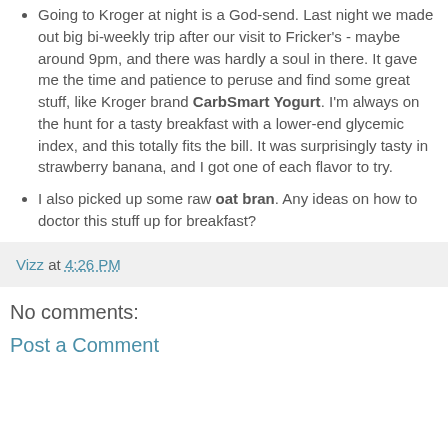Going to Kroger at night is a God-send. Last night we made out big bi-weekly trip after our visit to Fricker's - maybe around 9pm, and there was hardly a soul in there. It gave me the time and patience to peruse and find some great stuff, like Kroger brand CarbSmart Yogurt. I'm always on the hunt for a tasty breakfast with a lower-end glycemic index, and this totally fits the bill. It was surprisingly tasty in strawberry banana, and I got one of each flavor to try.
I also picked up some raw oat bran. Any ideas on how to doctor this stuff up for breakfast?
Vizz at 4:26 PM
No comments:
Post a Comment